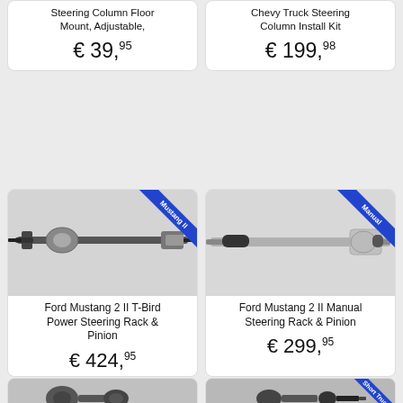Steering Column Floor Mount, Adjustable,
€ 39,95
Chevy Truck Steering Column Install Kit
€ 199,98
[Figure (photo): Ford Mustang 2 II T-Bird Power Steering Rack & Pinion with Mustang II ribbon label]
Ford Mustang 2 II T-Bird Power Steering Rack & Pinion
€ 424,95
[Figure (photo): Ford Mustang 2 II Manual Steering Rack & Pinion with Manual ribbon label]
Ford Mustang 2 II Manual Steering Rack & Pinion
€ 299,95
[Figure (photo): Automotive part bottom left card]
[Figure (photo): Short Truck automotive part with Short Truck ribbon label]